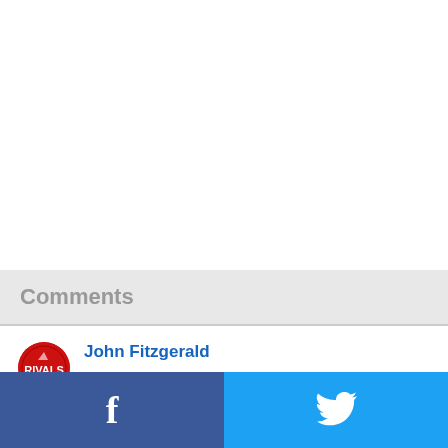Comments
John Fitzgerald
Maybe Jackson should come back, carry KU to a record breaking 14 Big 12 titles, get Big 12 player of